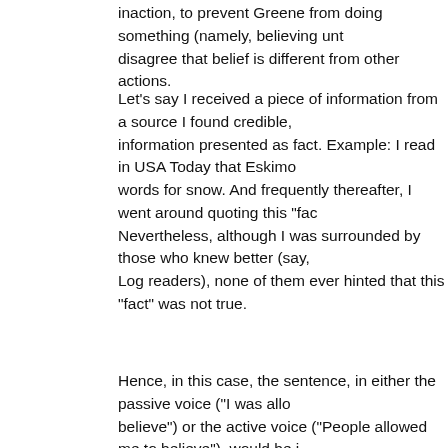inaction, to prevent Greene from doing something (namely, believing unt... disagree that belief is different from other actions.
Let's say I received a piece of information from a source I found credible, information presented as fact. Example: I read in USA Today that Eskimo... words for snow. And frequently thereafter, I went around quoting this "fac... Nevertheless, although I was surrounded by those who knew better (say, Log readers), none of them ever hinted that this "fact" was not true.
Hence, in this case, the sentence, in either the passive voice ("I was allo... believe") or the active voice ("People allowed me to believe"), would be j...
So the implication here is that Greene, having absorbed information from... found credible at the time, now having concluded that the info is untrue, s... those who surrounded her knew the info was untrue, and did nothing to d... of the ideas.
DaveK said,
February 9, 2021 @ 1:26 pm

@Jenny Chu:
I think your interpretation is the right one but what people are ridiculing he... implied denial of responsibility. She was elected to represent 800,000 pe... United States Congress, and you would expect someone who had sough...